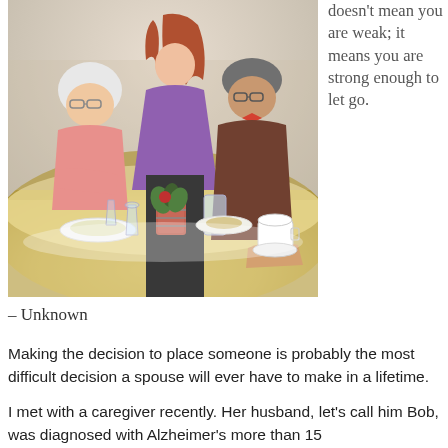[Figure (photo): An elderly woman in a pink top and an elderly man in a brown sweater sit at a dining table in what appears to be a care facility restaurant. A woman with long red hair in a purple top leans over the table attending to them. The table has drinks, plates of food, and a small plant centerpiece.]
doesn't mean you are weak; it means you are strong enough to let go.
– Unknown
Making the decision to place someone is probably the most difficult decision a spouse will ever have to make in a lifetime.
I met with a caregiver recently. Her husband, let's call him Bob, was diagnosed with Alzheimer's more than 15